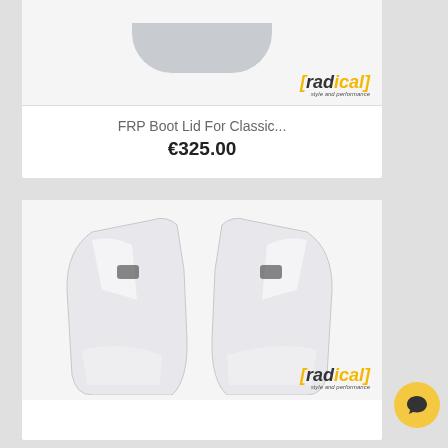[Figure (photo): Top product card showing partial grey boot lid shape with Radical logo]
FRP Boot Lid For Classic...
€325.00
[Figure (photo): Bottom product card showing two white FRP quarter panel fenders with Radical logo]